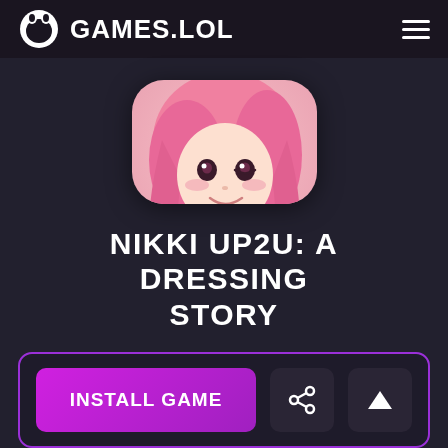GAMES.LOL
[Figure (illustration): Anime game icon for Nikki Up2u: A Dressing Story, showing a pink-haired anime girl holding a white rabbit toy, rounded square icon]
NIKKI UP2U: A DRESSING STORY
INSTALL GAME